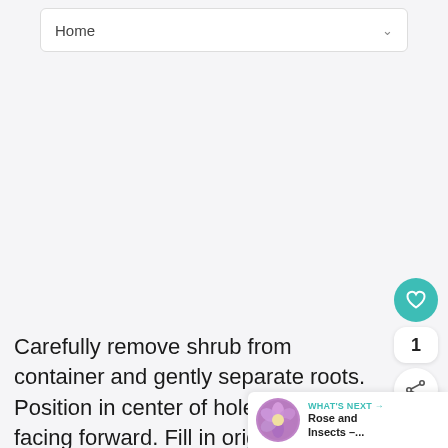Home
[Figure (other): Large blank/white content area, likely an image placeholder]
Carefully remove shrub from container and gently separate roots. Position in center of hole, best side facing forward. Fill in original soil or an amended mixture if needed
WHAT'S NEXT → Rose and Insects –...